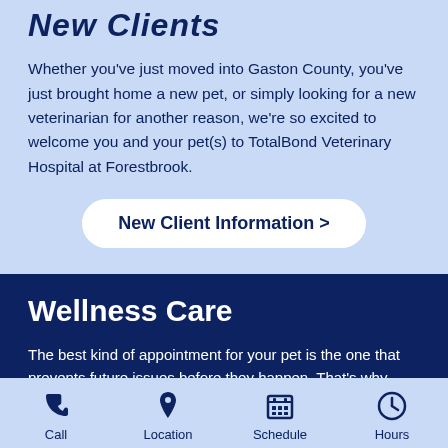New Clients
Whether you've just moved into Gaston County, you've just brought home a new pet, or simply looking for a new veterinarian for another reason, we're so excited to welcome you and your pet(s) to TotalBond Veterinary Hospital at Forestbrook.
[Figure (other): Button labeled 'New Client Information >']
Wellness Care
The best kind of appointment for your pet is the one that prevents future issues before they happen. That's why
Call   Location   Schedule   Hours